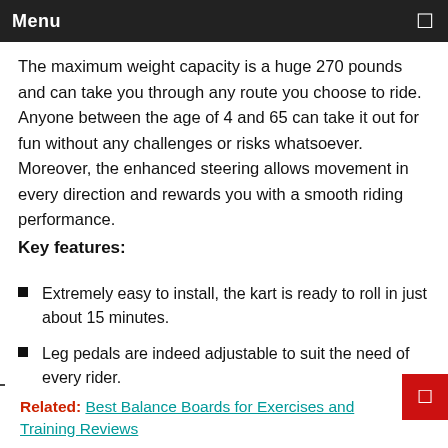Menu
The maximum weight capacity is a huge 270 pounds and can take you through any route you choose to ride. Anyone between the age of 4 and 65 can take it out for fun without any challenges or risks whatsoever. Moreover, the enhanced steering allows movement in every direction and rewards you with a smooth riding performance.
Key features:
Extremely easy to install, the kart is ready to roll in just about 15 minutes.
Leg pedals are indeed adjustable to suit the need of every rider.
Designed with an ergonomic seat that offers supreme comfort and reliability.
Related:  Best Balance Boards for Exercises and Training Reviews